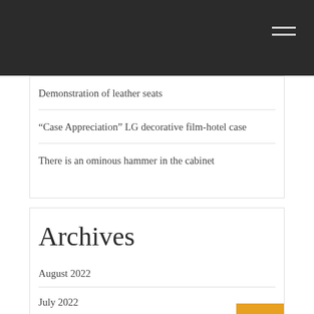Demonstration of leather seats
“Case Appreciation” LG decorative film-hotel case
There is an ominous hammer in the cabinet
Archives
August 2022
July 2022
June 2022